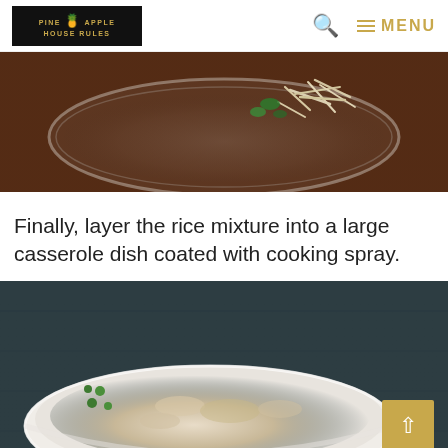PINEAPPLE HOUSE RULES — MENU
[Figure (photo): Glass mixing bowl with shredded cheese and green herbs on wooden surface, viewed from above]
Finally, layer the rice mixture into a large casserole dish coated with cooking spray.
[Figure (photo): White oval casserole dish filled with rice mixture with visible peas and herbs on wooden surface, with back-to-top button]